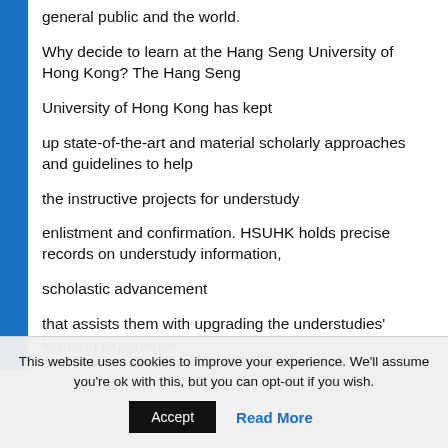general public and the world.
Why decide to learn at the Hang Seng University of Hong Kong? The Hang Seng
University of Hong Kong has kept
up state-of-the-art and material scholarly approaches and guidelines to help
the instructive projects for understudy
enlistment and confirmation. HSUHK holds precise records on understudy information,
scholastic advancement
that assists them with upgrading the understudies' learning experience.
Application Deadline: 21st November 2021
This website uses cookies to improve your experience. We'll assume you're ok with this, but you can opt-out if you wish.